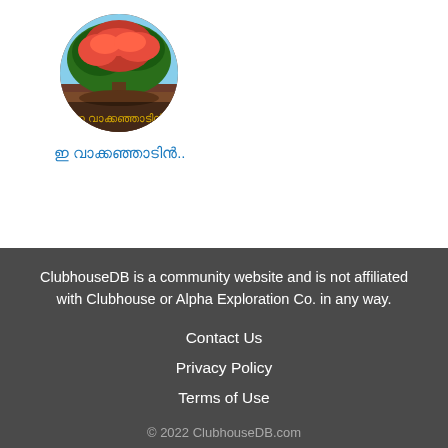[Figure (photo): Circular profile image with red flowers and green trees, with Malayalam text overlay at the bottom]
ഇ വാക്കഞ്ഞാടിൻ..
ClubhouseDB is a community website and is not affiliated with Clubhouse or Alpha Exploration Co. in any way.
Contact Us
Privacy Policy
Terms of Use
© 2022 ClubhouseDB.com